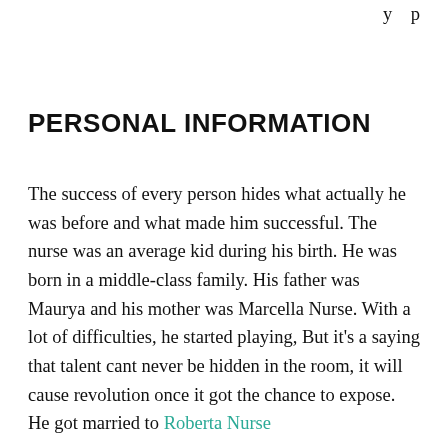y p
PERSONAL INFORMATION
The success of every person hides what actually he was before and what made him successful. The nurse was an average kid during his birth. He was born in a middle-class family. His father was Maurya and his mother was Marcella Nurse. With a lot of difficulties, he started playing, But it’s a saying that talent cant never be hidden in the room, it will cause revolution once it got the chance to expose. He got married to Roberta Nurse